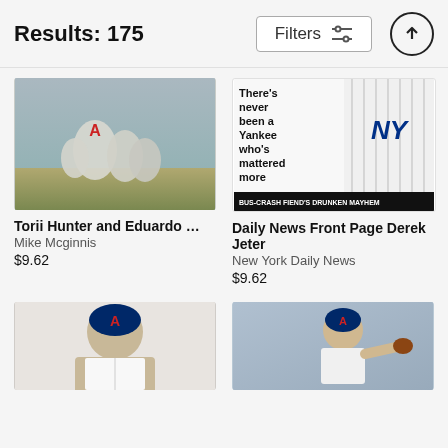Results: 175
[Figure (screenshot): Search results page header with Results: 175, Filters button with sliders icon, and an up-arrow circle button]
[Figure (photo): Torii Hunter and Eduardo Escobar baseball players in Braves uniforms on field]
Torii Hunter and Eduardo Es...
Mike Mcginnis
$9.62
[Figure (photo): New York Daily News front page featuring Derek Jeter with headline: There's never been a Yankee who's mattered more, BUS-CRASH FIEND'S DRUNKEN MAYHEM]
Daily News Front Page Derek Jeter
New York Daily News
$9.62
[Figure (photo): Braves player portrait photo with batting helmet]
[Figure (photo): Braves pitcher throwing a pitch on the field]